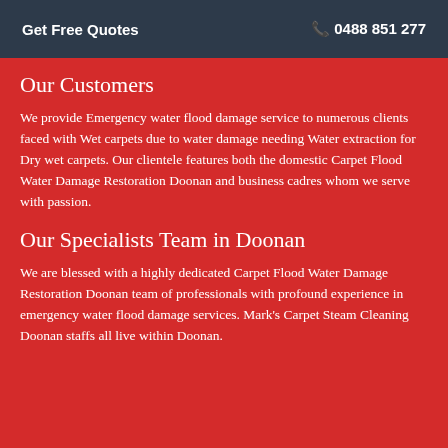Get Free Quotes   📞 0488 851 277
Our Customers
We provide Emergency water flood damage service to numerous clients faced with Wet carpets due to water damage needing Water extraction for Dry wet carpets. Our clientele features both the domestic Carpet Flood Water Damage Restoration Doonan and business cadres whom we serve with passion.
Our Specialists Team in Doonan
We are blessed with a highly dedicated Carpet Flood Water Damage Restoration Doonan team of professionals with profound experience in emergency water flood damage services. Mark's Carpet Steam Cleaning Doonan staffs all live within Doonan.